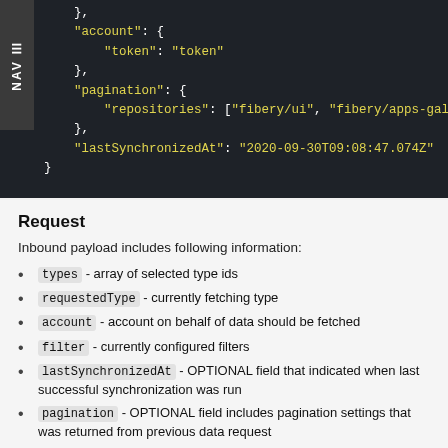[Figure (screenshot): Dark-themed code block showing JSON snippet with account token, pagination repositories, and lastSynchronizedAt fields. A vertical NAV tab is on the left side.]
Request
Inbound payload includes following information:
types - array of selected type ids
requestedType - currently fetching type
account - account on behalf of data should be fetched
filter - currently configured filters
lastSynchronizedAt - OPTIONAL field that indicated when last successful synchronization was run
pagination - OPTIONAL field includes pagination settings that was returned from previous data request